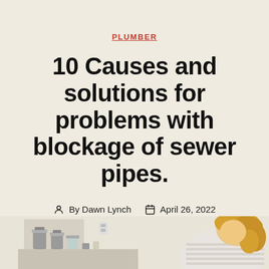PLUMBER
10 Causes and solutions for problems with blockage of sewer pipes.
By Dawn Lynch   April 26, 2022
No Comments
[Figure (photo): Bottom strip showing a kitchen counter scene on the left with metal canisters and jars, and a person with blonde hair leaning over on the right side.]